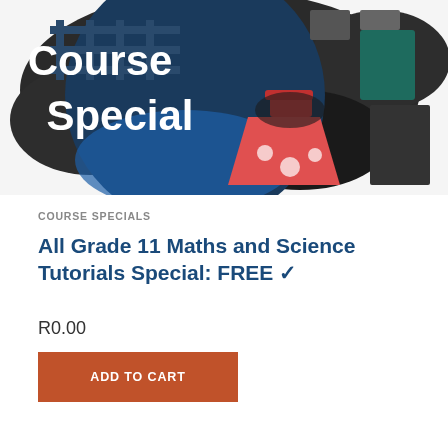[Figure (illustration): Course Special promotional banner image showing a dark blue circular badge with white bold text reading 'Course Special', surrounded by a splattered paint background in dark colors, with a red science beaker/flask illustration in the foreground and grid/chalkboard elements in the background.]
COURSE SPECIALS
All Grade 11 Maths and Science Tutorials Special: FREE ✓
R0.00
ADD TO CART